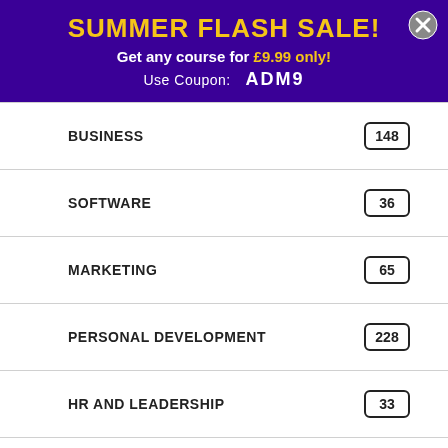SUMMER FLASH SALE!
Get any course for £9.99 only!
Use Coupon: ADM9
| Category | Count |
| --- | --- |
| BUSINESS | 148 |
| SOFTWARE | 36 |
| MARKETING | 65 |
| PERSONAL DEVELOPMENT | 228 |
| HR AND LEADERSHIP | 33 |
| HEALTH AND FITNESS | 103 |